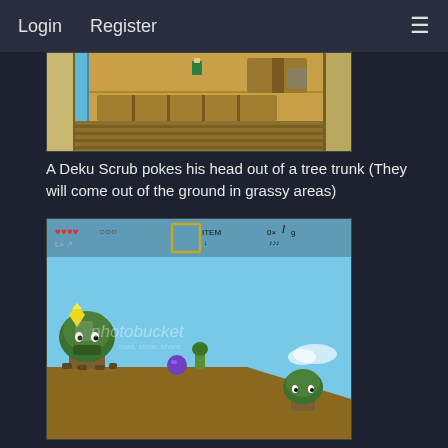Login   Register
[Figure (screenshot): Top-down 16-bit Zelda-style game screenshot showing a dungeon floor with a Link sprite near tree trunks]
A Deku Scrub pokes his head out of a tree trunk (They will come out of the ground in grassy areas)
[Figure (screenshot): Side-scrolling 16-bit Zelda Oracle game screenshot with HUD showing hearts and item box, two Deku Scrub tree characters on a tiled platform, a yellow gem, a purple ball enemy, and Photobucket watermark]